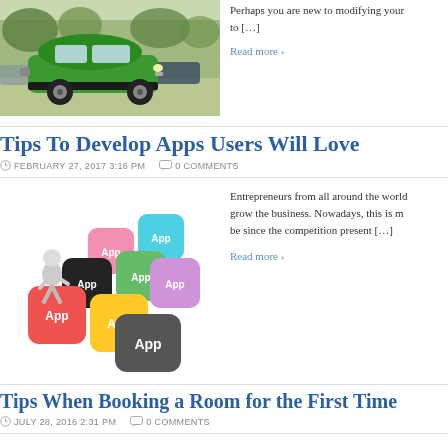[Figure (photo): Green vintage car (Citroen 2CV) at a car show with other cars in background]
Perhaps you are new to modifying your to […]
Read more ›
Tips To Develop Apps Users Will Love
FEBRUARY 27, 2017 3:16 PM   0 COMMENTS
[Figure (illustration): 3D figure pushing colorful app icons arranged as tiles with 'App' text on each]
Entrepreneurs from all around the world grow the business. Nowadays, this is m be since the competition present […]
Read more ›
Tips When Booking a Room for the First Time
JULY 28, 2016 2:31 PM   0 COMMENTS